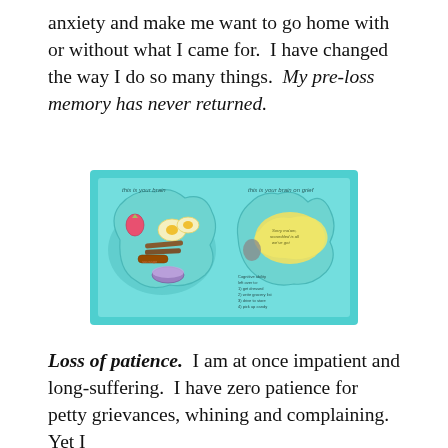anxiety and make me want to go home with or without what I came for.  I have changed the way I do so many things.  My pre-loss memory has never returned.
[Figure (illustration): An illustration comparing 'this is your brain' (left side, with colorful foods like eggs, bacon, strawberries, sausage, cereal bowl inside a brain shape) and 'this is your brain on grief' (right side, showing a mostly empty brain with only a yellow scrambled egg shape and a grey blob, with a note: 'Sorry ma'am, scrambled is all we've got'). Below the right brain: 'Cognitive ability left over to: 1) get dressed 2) write grocery list 3) drive to store 4) pick up candy'. Background is turquoise/teal.]
Loss of patience.  I am at once impatient and long-suffering.  I have zero patience for petty grievances, whining and complaining.  Yet I